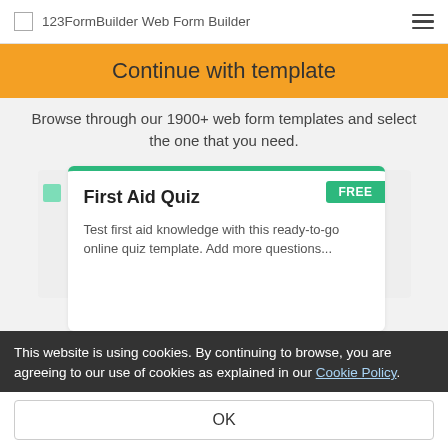123FormBuilder Web Form Builder
Continue with template
Browse through our 1900+ web form templates and select the one that you need.
[Figure (screenshot): Card showing 'First Aid Quiz' template with FREE badge and teal top border. Description: Test first aid knowledge with this ready-to-go online quiz template. Add more questions...]
This website is using cookies. By continuing to browse, you are agreeing to our use of cookies as explained in our Cookie Policy.
OK